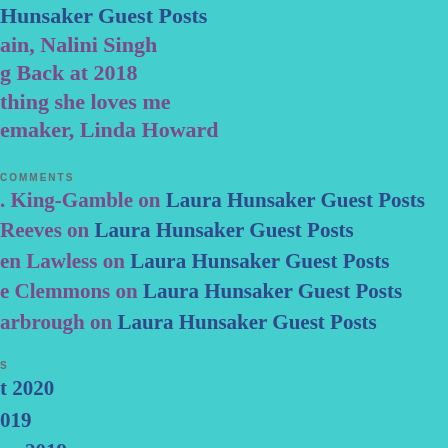Laura Hunsaker Guest Posts
Again, Nalini Singh
Looking Back at 2018
Something she loves me
Peacemaker, Linda Howard
COMMENTS
L. King-Gamble on Laura Hunsaker Guest Posts
Reeves on Laura Hunsaker Guest Posts
Ellen Lawless on Laura Hunsaker Guest Posts
Mae Clemmons on Laura Hunsaker Guest Posts
Scarbrough on Laura Hunsaker Guest Posts
ARCHIVES
August 2020
2019
January 2019